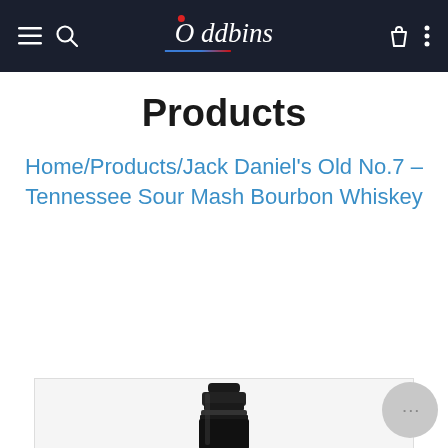Oddbins — navigation header
Products
Home/Products/Jack Daniel's Old No.7 – Tennessee Sour Mash Bourbon Whiskey
[Figure (photo): Top portion of a Jack Daniel's bottle in black packaging, partially visible at bottom of page]